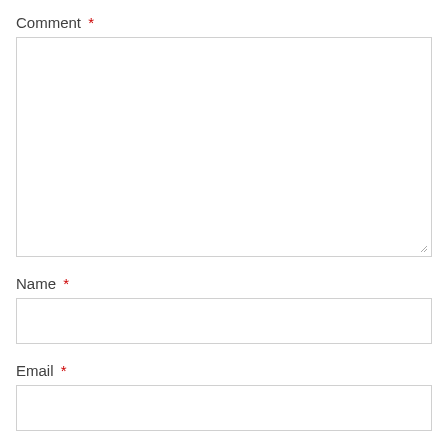Comment *
[Figure (other): Large empty textarea input box with resize handle in bottom-right corner]
Name *
[Figure (other): Single-line text input box for Name field]
Email *
[Figure (other): Single-line text input box for Email field]
Website